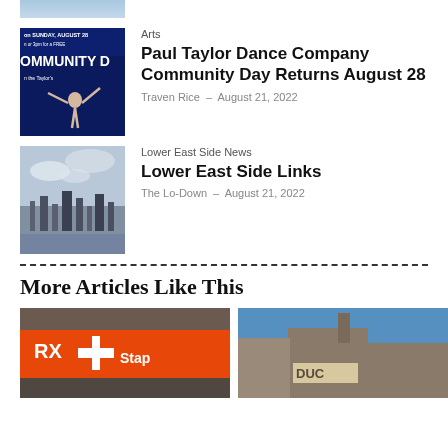[Figure (photo): Partial top thumbnail showing sky/clouds]
Arts
Paul Taylor Dance Company Community Day Returns August 28
Traven Rice – August 21, 2022
[Figure (photo): Thumbnail image for Paul Taylor Dance Company article showing dancer with arms outstretched, blue background]
Lower East Side News
Lower East Side Links
The Lo-Down – August 21, 2022
[Figure (photo): Thumbnail image for Lower East Side Links article showing city skyline with clouds]
More Articles Like This
[Figure (photo): Bottom left photo showing orange pharmacy/store sign with cross symbol (RX)]
[Figure (photo): Bottom right photo showing building with blue sky]